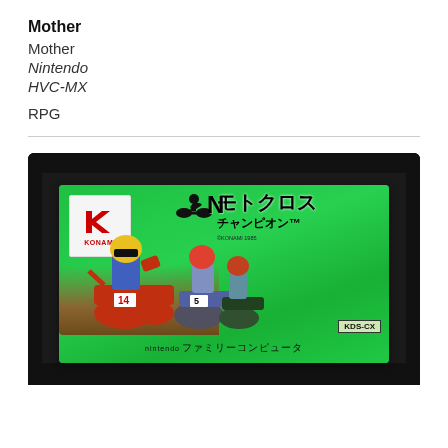Mother
Mother
Nintendo
HVC-MX
RPG
[Figure (photo): Photo of a Famicom (Nintendo Family Computer) game cartridge. The cartridge is black with a green label. The label shows the Konami logo in the top-left corner, Japanese text reading 'モトクロス チャンピオン' (Motocross Champion), an illustration of motocross riders racing, and text 'KDS-CX' and 'ファミリーコンピュータ' (Family Computer) at the bottom.]